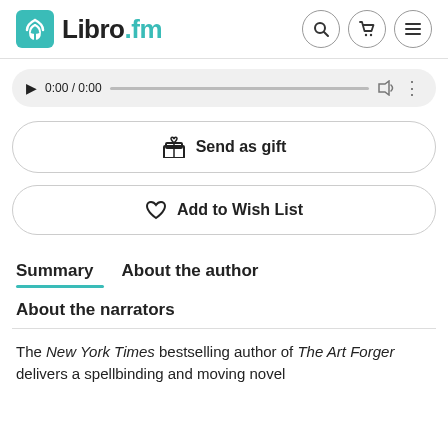Libro.fm
[Figure (screenshot): Audio player bar showing play button, time 0:00 / 0:00, progress bar, volume icon, and more options icon on a gray rounded background]
Send as gift
Add to Wish List
Summary   About the author
About the narrators
The New York Times bestselling author of The Art Forger delivers a spellbinding and moving novel